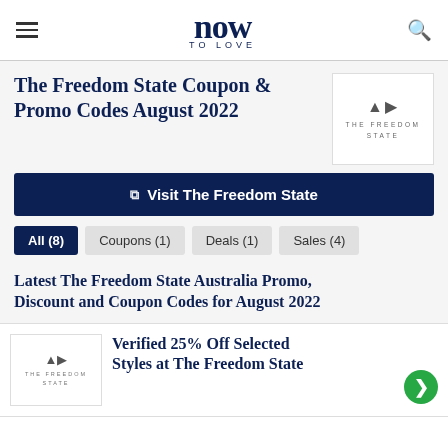now TO LOVE
The Freedom State Coupon & Promo Codes August 2022
Visit The Freedom State
All (8)
Coupons (1)
Deals (1)
Sales (4)
Latest The Freedom State Australia Promo, Discount and Coupon Codes for August 2022
Verified 25% Off Selected Styles at The Freedom State